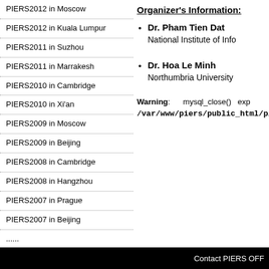PIERS2012 in Moscow
PIERS2012 in Kuala Lumpur
PIERS2011 in Suzhou
PIERS2011 in Marrakesh
PIERS2010 in Cambridge
PIERS2010 in Xi'an
PIERS2009 in Moscow
PIERS2009 in Beijing
PIERS2008 in Cambridge
PIERS2008 in Hangzhou
PIERS2007 in Prague
PIERS2007 in Beijing
......
Organizer's Information:
Dr. Pham Tien Dat
National Institute of Info
Dr. Hoa Le Minh
Northumbria University
Warning: mysql_close() exp /var/www/piers/public_html/piers
Contact PIERS OFF